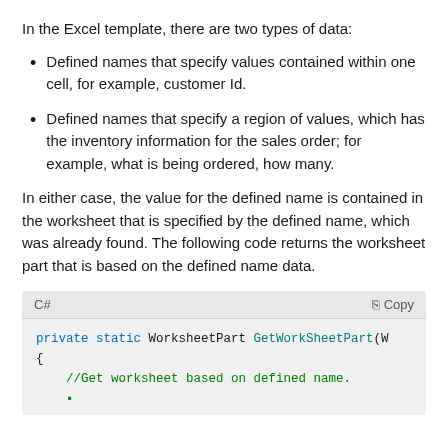In the Excel template, there are two types of data:
Defined names that specify values contained within one cell, for example, customer Id.
Defined names that specify a region of values, which has the inventory information for the sales order; for example, what is being ordered, how many.
In either case, the value for the defined name is contained in the worksheet that is specified by the defined name, which was already found. The following code returns the worksheet part that is based on the defined name data.
[Figure (screenshot): Code block in C# showing: private static WorksheetPart GetWorkSheetPart(Wo{ //Get worksheet based on defined name.]